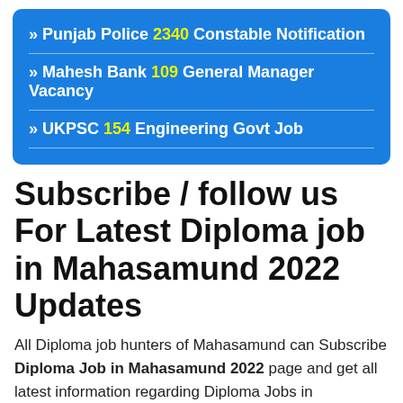» Punjab Police 2340 Constable Notification
» Mahesh Bank 109 General Manager Vacancy
» UKPSC 154 Engineering Govt Job
Subscribe / follow us For Latest Diploma job in Mahasamund 2022 Updates
All Diploma job hunters of Mahasamund can Subscribe Diploma Job in Mahasamund 2022 page and get all latest information regarding Diploma Jobs in Mahasamund.
Right now Mahasamund is releasing so many